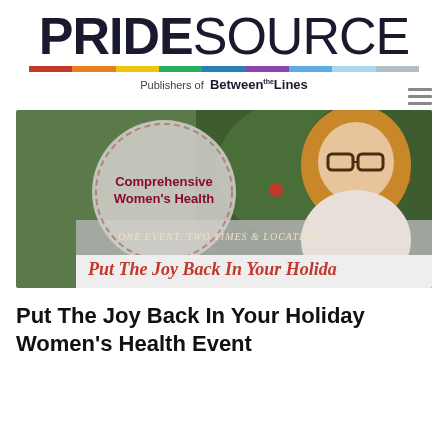PRIDESOURCE — Publishers of Between the Lines
[Figure (photo): Promotional banner for a Comprehensive Women's Health event titled 'Put The Joy Back In Your Holiday Women's Health Event'. Shows a smiling woman with glasses and long blonde hair in front of a Christmas tree. A circle overlay reads 'Comprehensive Women's Health'. Text overlay reads 'ONE EVENT, TWO TIMES & LOCATIONS!' and 'Put The Joy Back In Your Holiday'.]
Put The Joy Back In Your Holiday Women's Health Event